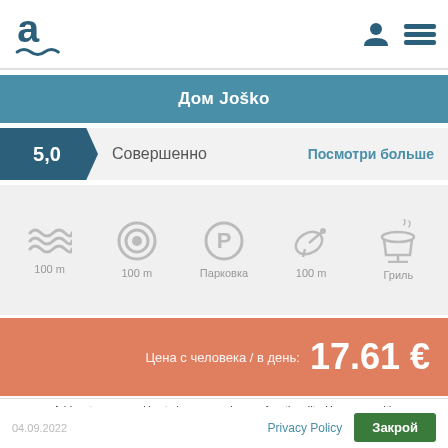Adriagate logo and navigation icons
Дом Joško
5,0  Совершенно  Посмотри больше
[Figure (infographic): Amenity icons: waves 100m, bullseye 100m, parking P, satellite dish 100m, grill]
Цена с человека / в день: 17.61 €
Adriagate uses cookies to improve web page functionality. You agree with the terms by further use of our web page. Read more about cookies on:
04.09.2022  Privacy Policy  Закрой